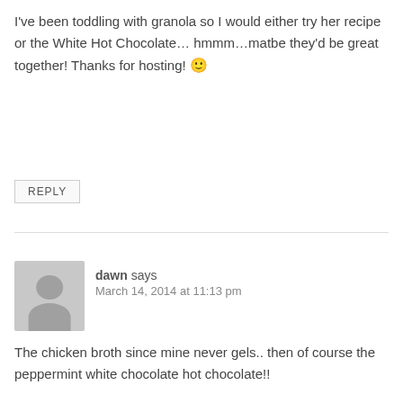I've been toddling with granola so I would either try her recipe or the White Hot Chocolate… hmmm…matbe they'd be great together! Thanks for hosting! 🙂
REPLY
dawn says
March 14, 2014 at 11:13 pm
The chicken broth since mine never gels.. then of course the peppermint white chocolate hot chocolate!!
REPLY